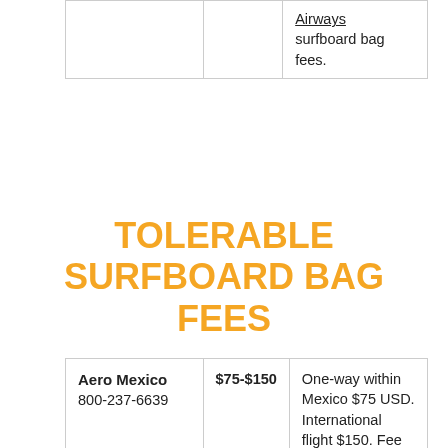|  |  |  |
| --- | --- | --- |
|  |  | Airways
surfboard bag fees. |
TOLERABLE SURFBOARD BAG FEES
| Airline | Price | Description |
| --- | --- | --- |
| Aero Mexico
800-237-6639 | $75-$150 | One-way within Mexico $75 USD. International flight $150. Fee is per case; up to 3 boards per case. Max length on a |